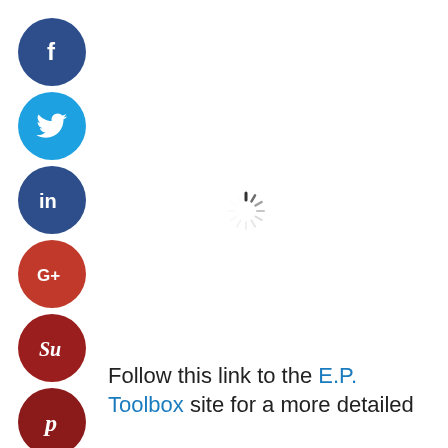[Figure (illustration): Vertical stack of social media share buttons: Facebook (dark blue circle with 'f'), Twitter (light blue circle with bird icon), LinkedIn (dark blue circle with 'in'), Google+ (red circle with 'G+'), StumbleUpon (dark red circle with 'Su'), Pinterest (dark red circle with 'P'), and a grey circle with '...' for more options]
[Figure (illustration): Loading spinner icon (circular dashed spinner) centered on the right side of the page]
Follow this link to the E.P. Toolbox site for a more detailed